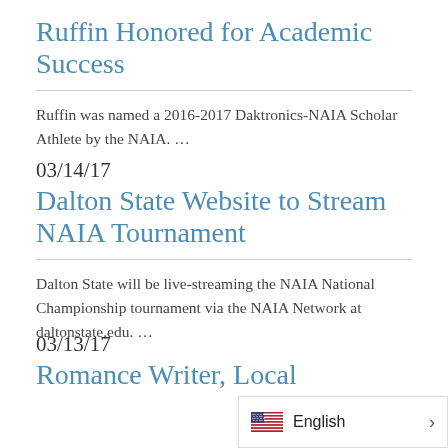Ruffin Honored for Academic Success
Ruffin was named a 2016-2017 Daktronics-NAIA Scholar Athlete by the NAIA. …
03/14/17
Dalton State Website to Stream NAIA Tournament
Dalton State will be live-streaming the NAIA National Championship tournament via the NAIA Network at daltonstate.edu. …
03/13/17
Romance Writer, Local Featured Book Festival…